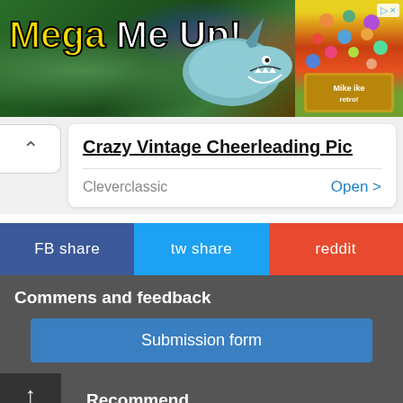[Figure (screenshot): Advertisement banner for 'Mega Me Up!' featuring a shark and colorful candy/jellybeans]
Crazy Vintage Cheerleading Pic
Cleverclassic   Open >
FB share
tw share
reddit
Commens and feedback
Submission form
Recommend
[Figure (screenshot): Bottom advertisement: HC logo, Ashburn OPEN 8AM-8PM, 44110 Ashburn Shopping Plaza 190, with navigation icon]